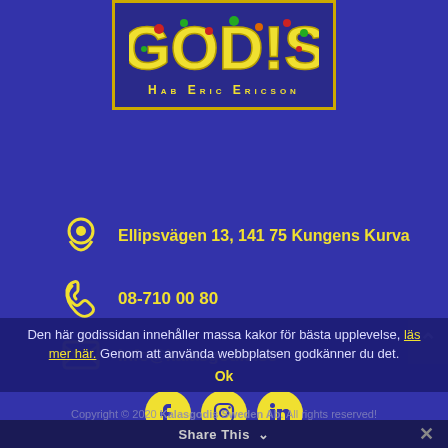[Figure (logo): GOD!S candy brand logo with colorful lettering on dark blue background, subtitle HAB ERIC ERICSON below]
Ellipsvägen 13, 141 75 Kungens Kurva
08-710 00 80
info@kalasgodis.se
[Figure (other): Social media icons: Facebook, Instagram, LinkedIn on yellow circles]
Den här godissidan innehåller massa kakor för bästa upplevelse, läs mer här. Genom att använda webbplatsen godkänner du det.
Ok
Copyright © 2020 Kalasgodis Sweden Ab. All rights reserved!
Share This ∨  ×